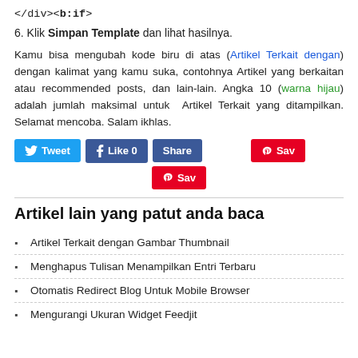</div></b:if>
6. Klik Simpan Template dan lihat hasilnya.
Kamu bisa mengubah kode biru di atas (Artikel Terkait dengan) dengan kalimat yang kamu suka, contohnya Artikel yang berkaitan atau recommended posts, dan lain-lain. Angka 10 (warna hijau) adalah jumlah maksimal untuk  Artikel Terkait yang ditampilkan. Selamat mencoba. Salam ikhlas.
[Figure (screenshot): Social sharing buttons: Tweet, Like 0, Share, Sav (Pinterest) in one row, and a second Sav (Pinterest) button centered below]
Artikel lain yang patut anda baca
Artikel Terkait dengan Gambar Thumbnail
Menghapus Tulisan Menampilkan Entri Terbaru
Otomatis Redirect Blog Untuk Mobile Browser
Mengurangi Ukuran Widget Feedjit